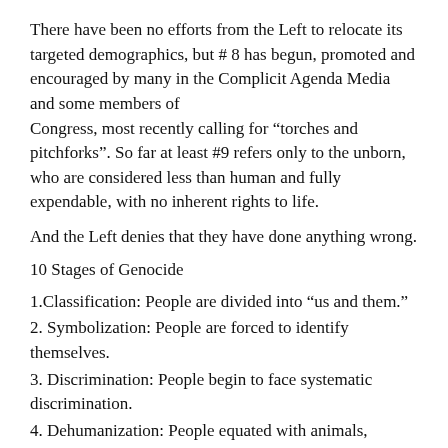There have been no efforts from the Left to relocate its targeted demographics, but # 8 has begun, promoted and encouraged by many in the Complicit Agenda Media and some members of Congress, most recently calling for “torches and pitchforks”. So far at least #9 refers only to the unborn, who are considered less than human and fully expendable, with no inherent rights to life.
And the Left denies that they have done anything wrong.
10 Stages of Genocide
1.Classification: People are divided into “us and them.”
2. Symbolization: People are forced to identify themselves.
3. Discrimination: People begin to face systematic discrimination.
4. Dehumanization: People equated with animals, vermin, or